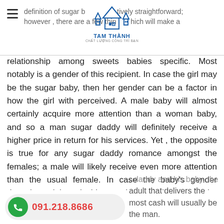definition of sugar baby is relatively straightforward; however , there are a few things which will make a
[Figure (logo): TAM THANH real estate logo with house icon and Vietnamese tagline]
relationship among sweets babies specific. Most notably is a gender of this recipient. In case the girl may be the sugar baby, then her gender can be a factor in how the girl with perceived. A male baby will almost certainly acquire more attention than a woman baby, and so a man sugar daddy will definitely receive a higher price in return for his services. Yet , the opposite is true for any sugar daddy romance amongst the females; a male will likely receive even more attention than the usual female. In case the baby’s gender doesn’t straight coincide together with his needs, he may feel like a gift is forced upon him and may deny it.
r daddy and his baby, the adult that delivers the most cash will usually be the man.